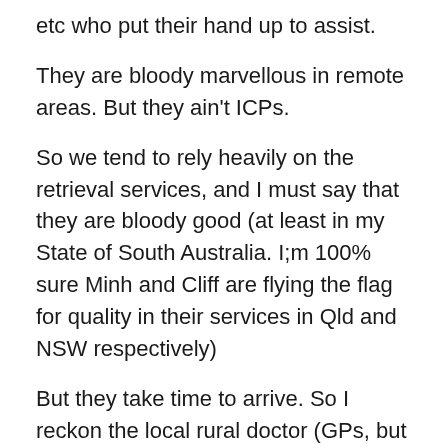etc who put their hand up to assist.
They are bloody marvellous in remote areas. But they ain't ICPs.
So we tend to rely heavily on the retrieval services, and I must say that they are bloody good (at least in my State of South Australia. I;m 100% sure Minh and Cliff are flying the flag for quality in their services in Qld and NSW respectively)
But they take time to arrive. So I reckon the local rural doctor (GPs, but often with procedural skills in anaes/surgery/EM or obstetrics) are ideally placed to fill the gap.
The UK has the BASCIS scheme and robust training for prehospital/immediate care. This is not an arena for